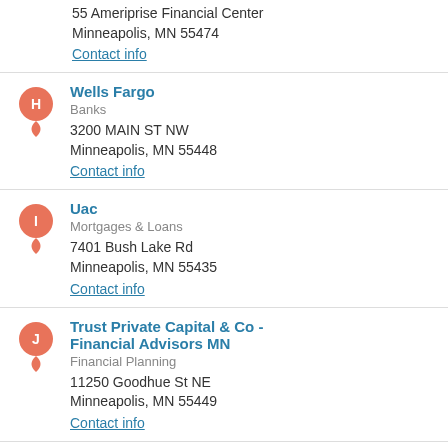55 Ameriprise Financial Center
Minneapolis, MN 55474
Contact info
H - Wells Fargo
Banks
3200 MAIN ST NW
Minneapolis, MN 55448
Contact info
I - Uac
Mortgages & Loans
7401 Bush Lake Rd
Minneapolis, MN 55435
Contact info
J - Trust Private Capital & Co - Financial Advisors MN
Financial Planning
11250 Goodhue St NE
Minneapolis, MN 55449
Contact info
prev 1 2 3 4 5 6 7 8